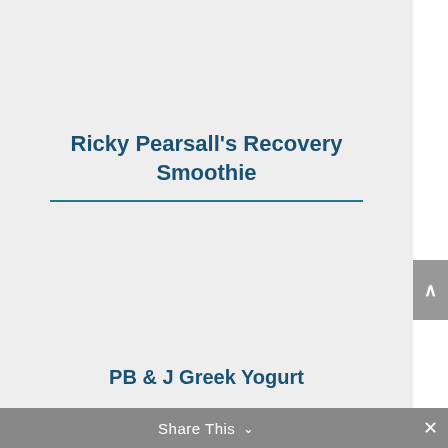Ricky Pearsall's Recovery Smoothie
PB & J Greek Yogurt
Share This